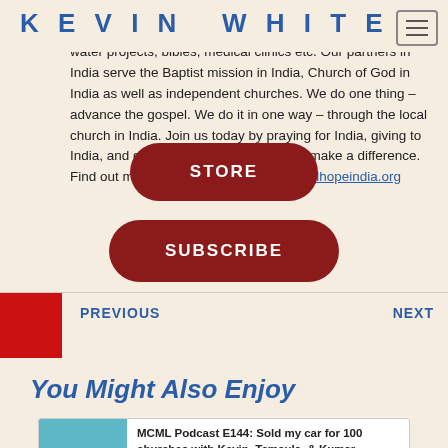KEVIN WHITE
India. 92% of every dollar given benefits gospel outreach projects in India such as church planting, orphan care, clean water projects, bibles, medical clinics etc. Our partners in India serve the Baptist mission in India, Church of God in India as well as independent churches. We do one thing – advance the gospel. We do it in one way – through the local church in India. Join us today by praying for India, giving to India, and going virtually or in person to make a difference. Find out more information at https://globalhopeindia.org
[Figure (screenshot): Red rounded rectangle button with text STORE]
[Figure (screenshot): Red rounded rectangle button with text SUBSCRIBE]
PREVIOUS
NEXT
You Might Also Enjoy
MCML Podcast E144: Sold my car for 100 churches with Kevin, Temsula, & Kumar